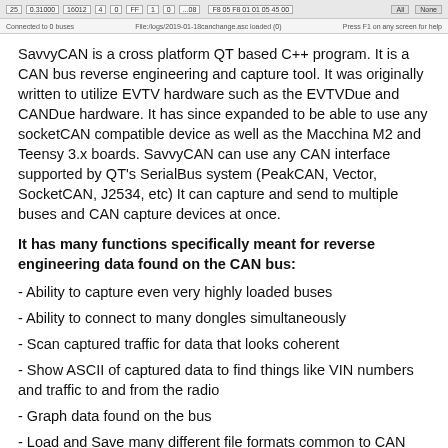[Figure (screenshot): Screenshot of SavvyCAN application interface showing a table/log view with columns for CAN bus data, status bar showing 'Connected to 0 buses', file path, and 'Press F1 on any screen for help']
SavvyCAN is a cross platform QT based C++ program. It is a CAN bus reverse engineering and capture tool. It was originally written to utilize EVTV hardware such as the EVTVDue and CANDue hardware. It has since expanded to be able to use any socketCAN compatible device as well as the Macchina M2 and Teensy 3.x boards. SavvyCAN can use any CAN interface supported by QT's SerialBus system (PeakCAN, Vector, SocketCAN, J2534, etc) It can capture and send to multiple buses and CAN capture devices at once.
It has many functions specifically meant for reverse engineering data found on the CAN bus:
- Ability to capture even very highly loaded buses
- Ability to connect to many dongles simultaneously
- Scan captured traffic for data that looks coherent
- Show ASCII of captured data to find things like VIN numbers and traffic to and from the radio
- Graph data found on the bus
- Load and Save many different file formats common to CAN capture tools (Vector captures, Microchip, CANDo, PCAN, and many more)
- Load and Save DBC files. DBC files are used to store definitions for